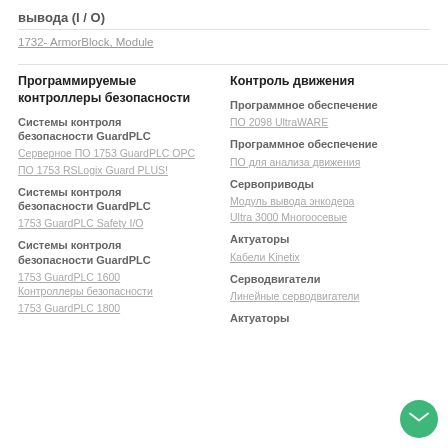вывода (I / O)
1732- ArmorBlock, Module
Программируемые контроллеры безопасности
Контроль движения
Системы контроля безопасности GuardPLC
Программное обеспечение
Серверное ПО 1753 GuardPLC OPC
ПО 2098 UltraWARE
ПО 1753 RSLogix Guard PLUS!
Программное обеспечение
ПО для анализа движения
Системы контроля безопасности GuardPLC
Сервоприводы
1753 GuardPLC Safety I/O
Модуль вывода энкодера
Ultra 3000 Многоосевые
Системы контроля безопасности GuardPLC
Актуаторы
Кабели Kinetix
1753 GuardPLC 1600 Контроллеры безопасности
Серводвигатели
1753 GuardPLC 1800
Линейные серводвигатели
Актуаторы